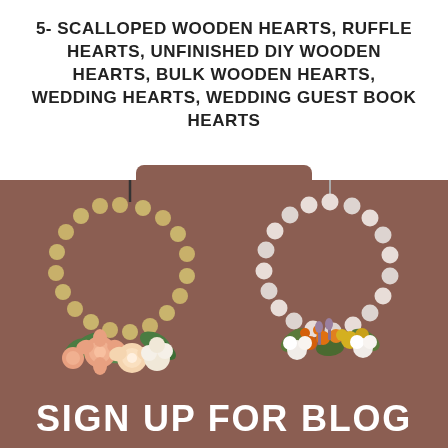5- SCALLOPED WOODEN HEARTS, RUFFLE HEARTS, UNFINISHED DIY WOODEN HEARTS, BULK WOODEN HEARTS, WEDDING HEARTS, WEDDING GUEST BOOK HEARTS
Add to cart
[Figure (photo): Two decorative bead wreaths with floral arrangements on a brown background. Left wreath has natural wood-colored beads with peach and cream roses and greenery. Right wreath has white/pale beads with orange, yellow, and white dried flowers.]
SIGN UP FOR BLOG